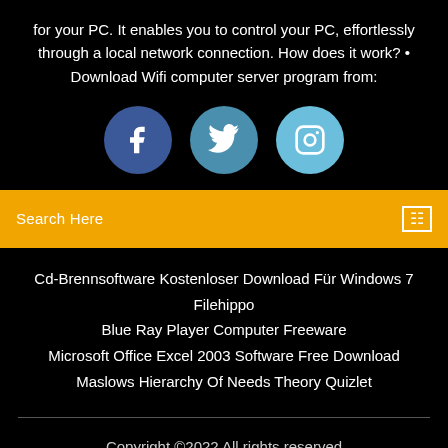for your PC. It enables you to control your PC, effortlessly through a local network connection. How does it work? • Download Wifi computer server program from:
[Figure (infographic): Three social media icons in circles: Facebook (dark blue), Twitter (medium blue), Instagram (light blue)]
Search Here
Cd-Brennsoftware Kostenloser Download Für Windows 7 Filehippo
Blue Ray Player Computer Freeware
Microsoft Office Excel 2003 Software Free Download
Maslows Hierarchy Of Needs Theory Quizlet
Copyright ©2022 All rights reserved